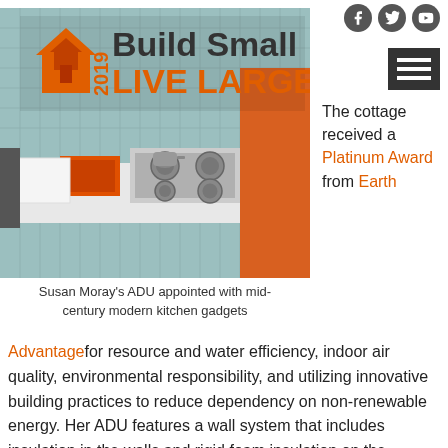[Figure (photo): Kitchen photo overlaid with '2019 Build Small LIVE LARGE' logo — orange house icon, grey and orange bold text on tiled kitchen background]
Susan Moray's ADU appointed with mid-century modern kitchen gadgets
The cottage received a Platinum Award from Earth
Advantagefor resource and water efficiency, indoor air quality, environmental responsibility, and utilizing innovative building practices to reduce dependency on non-renewable energy. Her ADU features a wall system that includes insulation in the walls and rigid foam insulation on the exterior of the building. She also has a tankless water heater, low-flow fixtures, radiant heating in the floors, and triple paned windows. She was conscientious about indoor air quality as well, so she used only zero VOC paint. Susan's